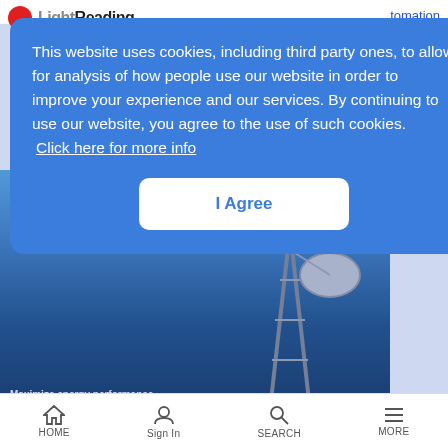[Figure (screenshot): LightReading website header with logo (red circle) and partially visible navigation text 'tomation' and pagination arrows '> >>']
[Figure (photo): Advertisement banner showing a telecommunications tower with a microwave dish against an aerial landscape photo. Text overlay reads 'network with lower energy consumption is within your reach.' and 'Maximize energy performance']
This website uses cookies, including third party ones, to allow for analysis of how people use our website in order to improve your experience and our services. By continuing to use our website, you agree to the use of such cookies. Click here for more info
I Agree
HOME   Sign In   SEARCH   MORE